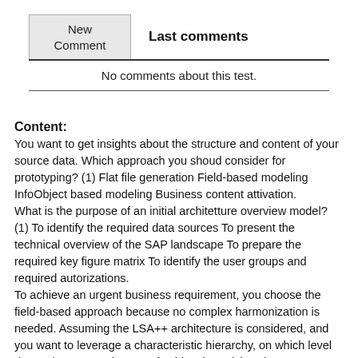| New Comment | Last comments |
| --- | --- |
| No comments about this test. |  |
Content:
You want to get insights about the structure and content of your source data. Which approach you shoud consider for prototyping? (1) Flat file generation Field-based modeling InfoObject based modeling Business content attivation.
What is the purpose of an initial architetture overview model? (1) To identify the required data sources To present the technical overview of the SAP landscape To prepare the required key figure matrix To identify the user groups and required autorizations.
To achieve an urgent business requirement, you choose the field-based approach because no complex harmonization is needed. Assuming the LSA++ architecture is considered, and you want to leverage a characteristic hierarchy, on which level do you have to assign an InfoObject last? (1) In the SAP BW Datastore